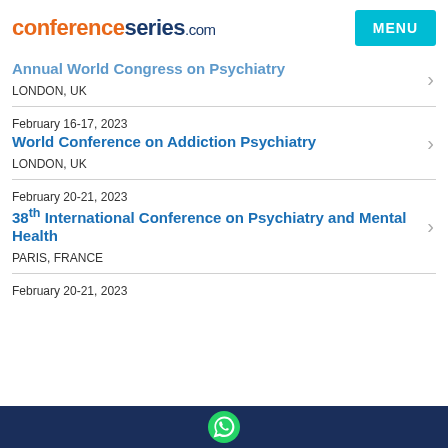conferenceseries.com | MENU
Annual World Congress on Psychiatry
LONDON, UK
February 16-17, 2023 World Conference on Addiction Psychiatry
LONDON, UK
February 20-21, 2023 38th International Conference on Psychiatry and Mental Health
PARIS, FRANCE
February 20-21, 2023